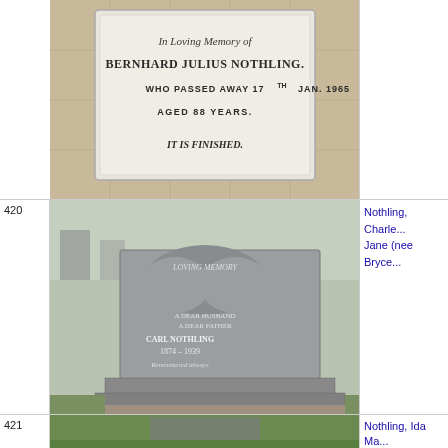[Figure (photo): Gravestone inscription: In Loving Memory of Bernhard Julius Nothling. Who passed away 17th Jan. 1965. Aged 88 years. It is finished.]
420
[Figure (photo): Granite gravestone in loving memory of Carl Nothling 1874-1939 and Jane Nothling, with decorative arch design.]
Nothling, Charles Jane (nee Bryce...
421
[Figure (photo): Gravestone partially visible, green lawn in foreground.]
Nothling, Ida Ma...